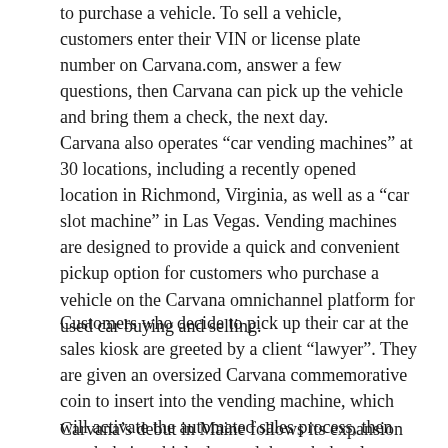to purchase a vehicle. To sell a vehicle, customers enter their VIN or license plate number on Carvana.com, answer a few questions, then Carvana can pick up the vehicle and bring them a check, the next day.
Carvana also operates “car vending machines” at 30 locations, including a recently opened location in Richmond, Virginia, as well as a “car slot machine” in Las Vegas. Vending machines are designed to provide a quick and convenient pickup option for customers who purchase a vehicle on the Carvana omnichannel platform for used car buying and selling.
Customers who decide to pick up their car at the sales kiosk are greeted by a client “lawyer”. They are given an oversized Carvana commemorative coin to insert into the vending machine, which will activate the automated sales process, then watch their vehicle descend through the glass structure.
Carvana’s debut in Maine follows its expansion in September